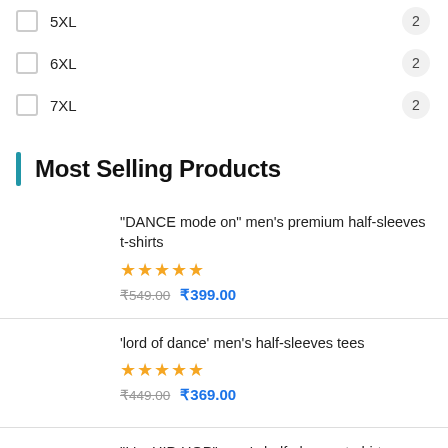5XL  2
6XL  2
7XL  2
Most Selling Products
"DANCE mode on" men's premium half-sleeves t-shirts
★★★★★
₹549.00 ₹399.00
'lord of dance' men's half-sleeves tees
★★★★★
₹449.00 ₹369.00
"I 'm HIP-HOP" men's half-sleeves t-shirts
★★★★☆